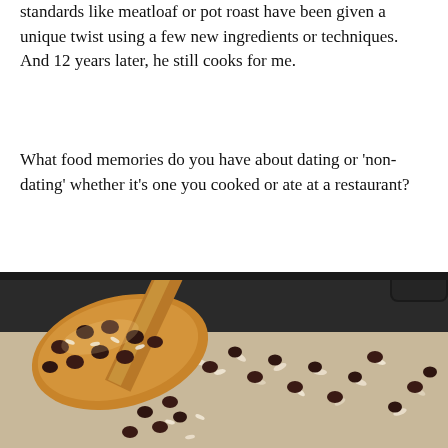standards like meatloaf or pot roast have been given a unique twist using a few new ingredients or techniques.  And 12 years later, he still cooks for me.
What food memories do you have about dating or 'non-dating' whether it's one you cooked or ate at a restaurant?
[Figure (photo): Close-up photo of black beans and white rice being scooped with a wooden spoon in a dark skillet/pan]